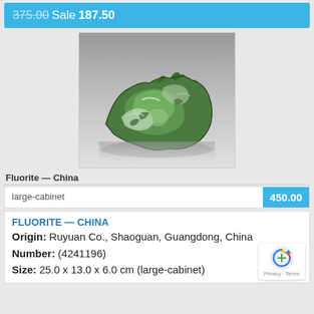375.00 Sale 187.50
[Figure (photo): Green fluorite mineral specimen from China, showing rough crystalline green and white rock formation against a gray gradient background]
Fluorite — China
| large-cabinet | 450.00 |
| --- | --- |
FLUORITE — CHINA
Origin: Ruyuan Co., Shaoguan, Guangdong, China
Number: (4241196)
Size: 25.0 x 13.0 x 6.0 cm (large-cabinet)